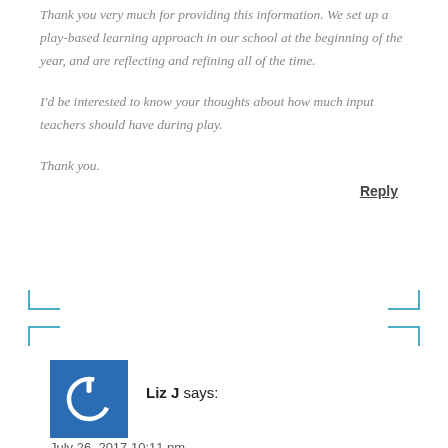Thank you very much for providing this information. We set up a play-based learning approach in our school at the beginning of the year, and are reflecting and refining all of the time.
I'd be interested to know your thoughts about how much input teachers should have during play.
Thank you.
Reply
[Figure (illustration): Blue square avatar icon with a power/user symbol in white]
Liz J says:
July 26, 2017 10:11 pm
Hi Keryn,
I am a teacher in a special school in Chch and see this as a real